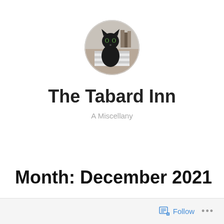[Figure (photo): Circular profile photo of a black cat sitting on a striped surface with shelves and books in background]
The Tabard Inn
A Miscellany
Month: December 2021
Follow ...